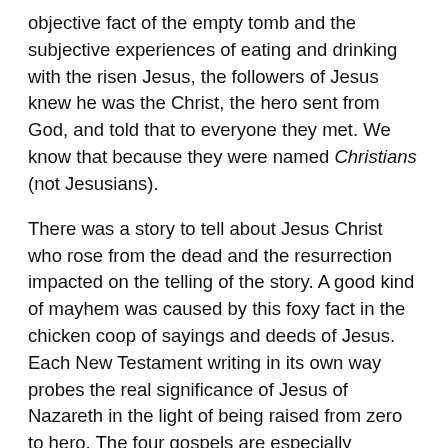objective fact of the empty tomb and the subjective experiences of eating and drinking with the risen Jesus, the followers of Jesus knew he was the Christ, the hero sent from God, and told that to everyone they met. We know that because they were named Christians (not Jesusians).
There was a story to tell about Jesus Christ who rose from the dead and the resurrection impacted on the telling of the story. A good kind of mayhem was caused by this foxy fact in the chicken coop of sayings and deeds of Jesus. Each New Testament writing in its own way probes the real significance of Jesus of Nazareth in the light of being raised from zero to hero. The four gospels are especially interesting because we read them naturally forwards from beginning to end and it takes a certain amount of educated effort (e.g. through biblical studies) to read them as stories which have been revised backwards, from resurrection to beginning.
One simple example illustrates this, the example of what the gospel writers actually say about the beginning of Jesus. Mark presents Jesus from his baptism. Matthew gives us Jesus from his conception and birth contextualised with a